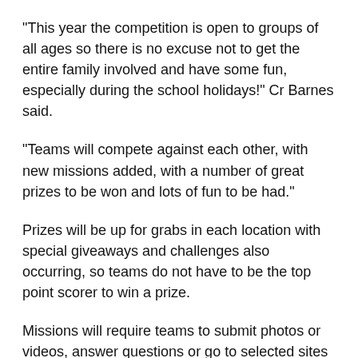“This year the competition is open to groups of all ages so there is no excuse not to get the entire family involved and have some fun, especially during the school holidays!” Cr Barnes said.
“Teams will compete against each other, with new missions added, with a number of great prizes to be won and lots of fun to be had.”
Prizes will be up for grabs in each location with special giveaways and challenges also occurring, so teams do not have to be the top point scorer to win a prize.
Missions will require teams to submit photos or videos, answer questions or go to selected sites using a free app called Goosechase.